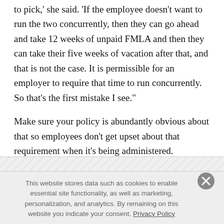to pick,' she said. 'If the employee doesn't want to run the two concurrently, then they can go ahead and take 12 weeks of unpaid FMLA and then they can take their five weeks of vacation after that, and that is not the case. It is permissible for an employer to require that time to run concurrently. So that's the first mistake I see.'
Make sure your policy is abundantly obvious about that so employees don't get upset about that requirement when it's being administered.
This website stores data such as cookies to enable essential site functionality, as well as marketing, personalization, and analytics. By remaining on this website you indicate your consent. Privacy Policy